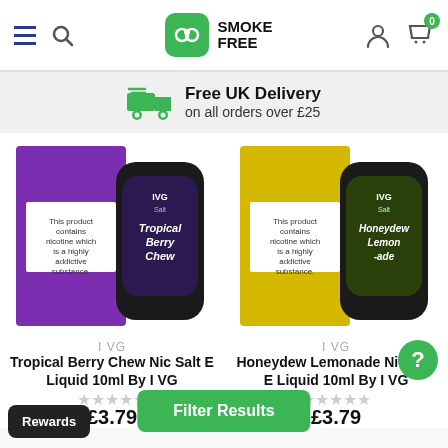Smoke Free — Navigation bar with hamburger menu, search, logo, user icon, cart (0)
Free UK Delivery on all orders over £25
[Figure (photo): I VG Tropical Berry Chew Nic Salt E Liquid 10ml product image]
I VG
Tropical Berry Chew Nic Salt E Liquid 10ml By I VG
£3.79
[Figure (photo): I VG Honeydew Lemonade Nic Salt E Liquid 10ml product image]
I VG
Honeydew Lemonade Nic Salt E Liquid 10ml By I VG
£3.79
[Figure (photo): I VG Salt Fresh Mango product image — bottom left, partially visible]
[Figure (photo): I VG Salt Forest Berries Ice product image — bottom right, partially visible]
Filter Results
Rewards